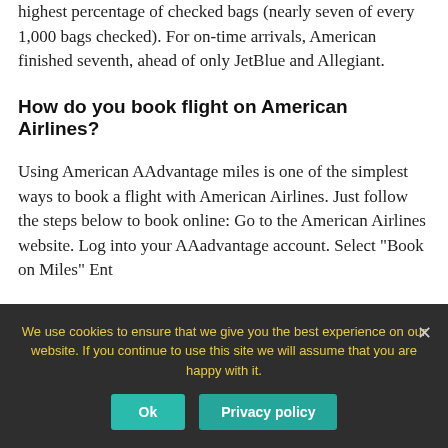highest percentage of checked bags (nearly seven of every 1,000 bags checked). For on-time arrivals, American finished seventh, ahead of only JetBlue and Allegiant.
How do you book flight on American Airlines?
Using American AAdvantage miles is one of the simplest ways to book a flight with American Airlines. Just follow the steps below to book online: Go to the American Airlines website. Log into your AAadvantage account. Select "Book on Miles" Ent...
We use cookies to ensure that we give you the best experience on our website. If you continue to use this site we will assume that you are happy with it.